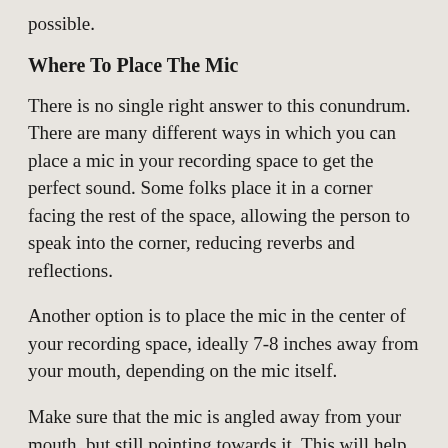possible.
Where To Place The Mic
There is no single right answer to this conundrum. There are many different ways in which you can place a mic in your recording space to get the perfect sound. Some folks place it in a corner facing the rest of the space, allowing the person to speak into the corner, reducing reverbs and reflections.
Another option is to place the mic in the center of your recording space, ideally 7-8 inches away from your mouth, depending on the mic itself.
Make sure that the mic is angled away from your mouth, but still pointing towards it, This will help it avoid catching your breath (plosives)while still capturing the sounds coming from your mouth.
If you want to do pro voiceover you will also need a pop filter in your studio. Keep it right in front of your mouth